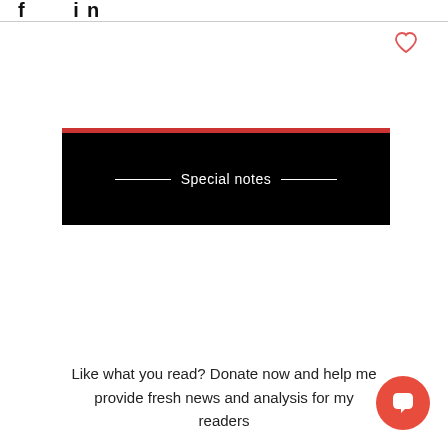f in
[Figure (illustration): Heart/like icon outline in red/coral color]
Special notes
Like what you read? Donate now and help me provide fresh news and analysis for my readers
[Figure (illustration): Red circular chat bubble button icon]